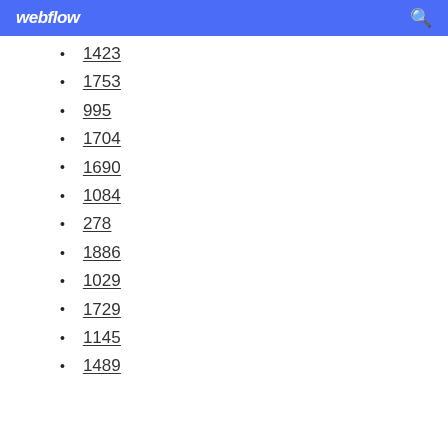webflow
1423
1753
995
1704
1690
1084
278
1886
1029
1729
1145
1489